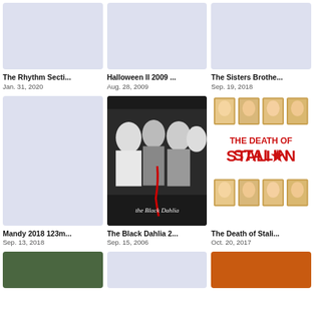[Figure (photo): Movie poster placeholder for The Rhythm Section (light blue/lavender)]
[Figure (photo): Movie poster placeholder for Halloween II 2009 (light blue/lavender)]
[Figure (photo): Movie poster placeholder for The Sisters Brothers (light blue/lavender)]
The Rhythm Secti...
Jan. 31, 2020
Halloween II 2009 ...
Aug. 28, 2009
The Sisters Brothe...
Sep. 19, 2018
[Figure (photo): Movie poster placeholder for Mandy 2018 (light blue/lavender)]
[Figure (photo): Movie poster for The Black Dahlia 2006 - noir style with cast in black and white]
[Figure (photo): Movie poster for The Death of Stalin - red text on white with portrait photos]
Mandy 2018 123m...
Sep. 13, 2018
The Black Dahlia 2...
Sep. 15, 2006
The Death of Stali...
Oct. 20, 2017
[Figure (photo): Partial movie poster at bottom left (green tones)]
[Figure (photo): Partial movie poster at bottom center (blank/white)]
[Figure (photo): Partial movie poster at bottom right (orange/warm tones)]